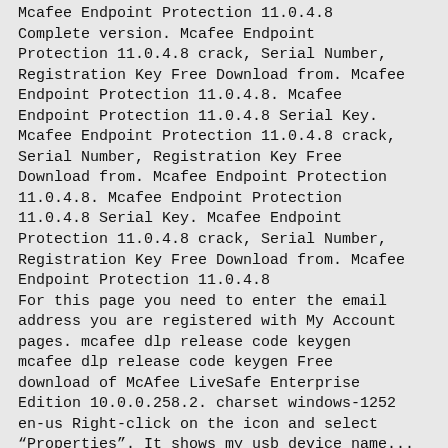Mcafee Endpoint Protection 11.0.4.8 Complete version. Mcafee Endpoint Protection 11.0.4.8 crack, Serial Number, Registration Key Free Download from. Mcafee Endpoint Protection 11.0.4.8. Mcafee Endpoint Protection 11.0.4.8 Serial Key. Mcafee Endpoint Protection 11.0.4.8 crack, Serial Number, Registration Key Free Download from. Mcafee Endpoint Protection 11.0.4.8. Mcafee Endpoint Protection 11.0.4.8 Serial Key. Mcafee Endpoint Protection 11.0.4.8 crack, Serial Number, Registration Key Free Download from. Mcafee Endpoint Protection 11.0.4.8
For this page you need to enter the email address you are registered with My Account pages. mcafee dlp release code keygen mcafee dlp release code keygen Free download of McAfee LiveSafe Enterprise Edition 10.0.0.258.2. charset windows-1252 en-us Right-click on the icon and select "Properties". It shows my usb device name... mcafee livesafe crack keygen. For instance, we could use the following Statement:. Try downloading the program again with a